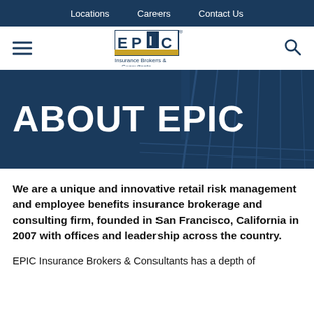Locations   Careers   Contact Us
[Figure (logo): EPIC Insurance Brokers & Consultants logo with hamburger menu and search icon]
ABOUT EPIC
We are a unique and innovative retail risk management and employee benefits insurance brokerage and consulting firm, founded in San Francisco, California in 2007 with offices and leadership across the country.
EPIC Insurance Brokers & Consultants has a depth of